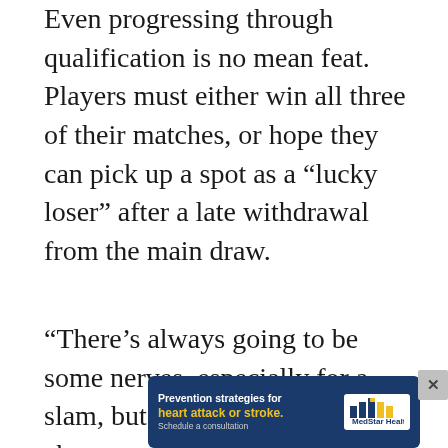Even progressing through qualification is no mean feat. Players must either win all three of their matches, or hope they can pick up a spot as a “lucky loser” after a late withdrawal from the main draw.
“There’s always going to be some nerves, especially for a slam, but I think the good thing about coming through qualifying is you kind of get most of that behind you,” says Krueger, who first qualified for the main draw of a grand slam at the 2018 US Open.
“You’ll have three tough matches under your belt, whereas everyone else is coming in with nothi... defini...
[Figure (other): Advertisement banner for MedStar Health: 'Prevention strategies for heart attack or stroke. Schedule a consultation.' with MedStar Health logo on right side. Blue background with yellow text highlight. Close button (x) in upper right corner.]